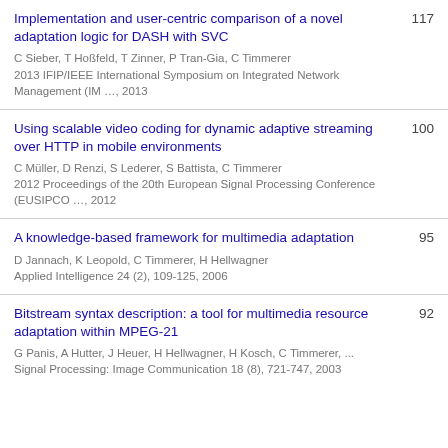Implementation and user-centric comparison of a novel adaptation logic for DASH with SVC | C Sieber, T Hoßfeld, T Zinner, P Tran-Gia, C Timmerer | 2013 IFIP/IEEE International Symposium on Integrated Network Management (IM …, 2013 | 117
Using scalable video coding for dynamic adaptive streaming over HTTP in mobile environments | C Müller, D Renzi, S Lederer, S Battista, C Timmerer | 2012 Proceedings of the 20th European Signal Processing Conference (EUSIPCO …, 2012 | 100
A knowledge-based framework for multimedia adaptation | D Jannach, K Leopold, C Timmerer, H Hellwagner | Applied Intelligence 24 (2), 109-125, 2006 | 95
Bitstream syntax description: a tool for multimedia resource adaptation within MPEG-21 | G Panis, A Hutter, J Heuer, H Hellwagner, H Kosch, C Timmerer, ... | Signal Processing: Image Communication 18 (8), 721-747, 2003 | 92